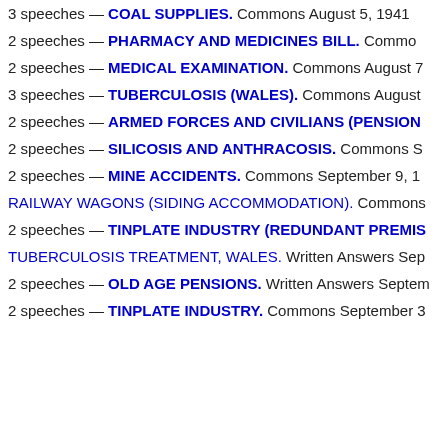3 speeches — COAL SUPPLIES. Commons August 5, 1941
2 speeches — PHARMACY AND MEDICINES BILL. Commons
2 speeches — MEDICAL EXAMINATION. Commons August 7
3 speeches — TUBERCULOSIS (WALES). Commons August
2 speeches — ARMED FORCES AND CIVILIANS (PENSION
2 speeches — SILICOSIS AND ANTHRACOSIS. Commons S
2 speeches — MINE ACCIDENTS. Commons September 9, 1
RAILWAY WAGONS (SIDING ACCOMMODATION). Commons
2 speeches — TINPLATE INDUSTRY (REDUNDANT PREMIS
TUBERCULOSIS TREATMENT, WALES. Written Answers Sep
2 speeches — OLD AGE PENSIONS. Written Answers Septem
2 speeches — TINPLATE INDUSTRY. Commons September 3